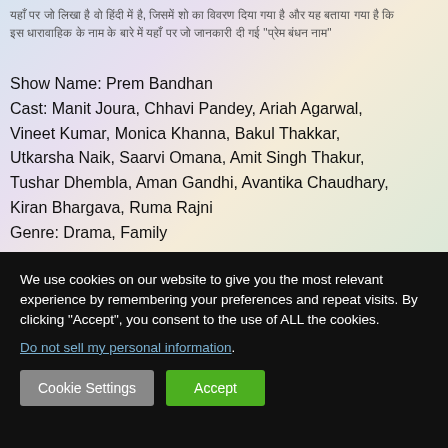हिंदी में टेक्स्ट जो ऊपर दिखता है, जिसमें शो का विवरण और नाम का उल्लेख है जिसे "प्रेम बंधन" कहते हैं
Show Name: Prem Bandhan
Cast: Manit Joura, Chhavi Pandey, Ariah Agarwal, Vineet Kumar, Monica Khanna, Bakul Thakkar, Utkarsha Naik, Saarvi Omana, Amit Singh Thakur, Tushar Dhembla, Aman Gandhi, Avantika Chaudhary, Kiran Bhargava, Ruma Rajni
Genre: Drama, Family
We use cookies on our website to give you the most relevant experience by remembering your preferences and repeat visits. By clicking "Accept", you consent to the use of ALL the cookies.
Do not sell my personal information.
Cookie Settings
Accept